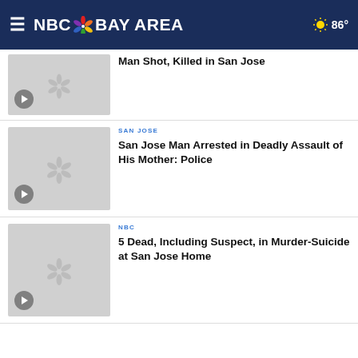NBC Bay Area — 86°
Man Shot, Killed in San Jose
[Figure (screenshot): NBC peacock placeholder video thumbnail with play button]
San Jose Man Arrested in Deadly Assault of His Mother: Police
[Figure (screenshot): NBC peacock placeholder video thumbnail with play button]
5 Dead, Including Suspect, in Murder-Suicide at San Jose Home
[Figure (screenshot): NBC peacock placeholder video thumbnail with play button]